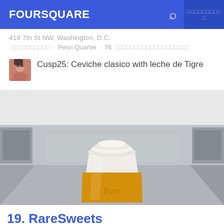FOURSQUARE
418 7th St NW, Washington, D.C.
□□□□□□□□□□ · Penn Quarter · 76 □□□□□□□□□□□□□□□□□□□
Cusp25: Ceviche clasico with leche de Tigre
[Figure (photo): Photo of a takeaway coffee cup with yellow sleeve branded 'Rare', placed in an indoor corridor/mall setting]
19. RareSweets
963 Palmer Alley NW (at 10th St NW), Washington, D.C.
□□□□□□□□□□ · Downtown Penn Quarter Chinatown